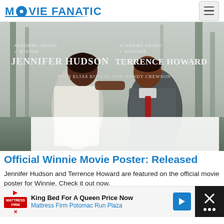MOVIE FANATIC
[Figure (photo): Movie poster for Winnie featuring Academy Award Winner Jennifer Hudson and Academy Award Nominee Terrence Howard, with Elias Koteas and Wendy Crewson. Two actors face each other outdoors among trees.]
Official Winnie Movie Poster: Released
Jennifer Hudson and Terrence Howard are featured on the official movie poster for Winnie. Check it out now.
[Figure (other): Advertisement banner: King Bed For A Queen Price Now - Mattress Firm Potomac Run Plaza]